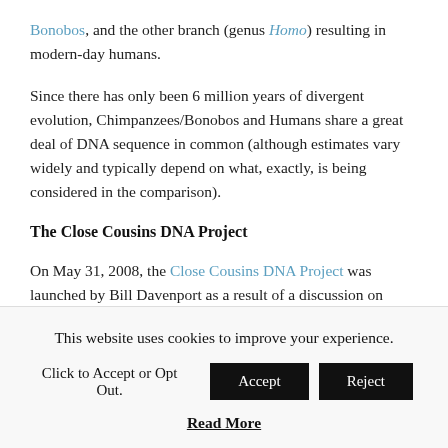Bonobos, and the other branch (genus Homo) resulting in modern-day humans.
Since there has only been 6 million years of divergent evolution, Chimpanzees/Bonobos and Humans share a great deal of DNA sequence in common (although estimates vary widely and typically depend on what, exactly, is being considered in the comparison).
The Close Cousins DNA Project
On May 31, 2008, the Close Cousins DNA Project was launched by Bill Davenport as a result of a discussion on
This website uses cookies to improve your experience.
Click to Accept or Opt Out. Accept Reject
Read More